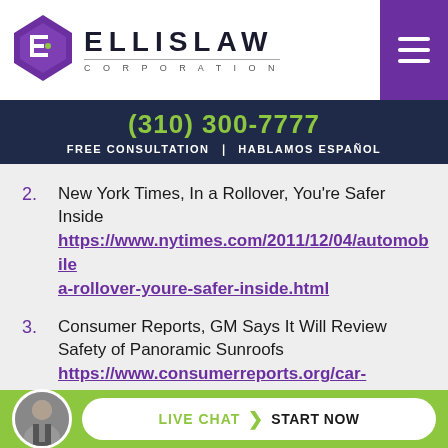[Figure (logo): Ellis Law Corporation logo with purple diamond/shield icon and ELLISLAW CORPORATION text]
(310) 300-7777 FREE CONSULTATION • HABLAMOS ESPAÑOL
2. New York Times, In a Rollover, You're Safer Inside https://www.nytimes.com/2011/12/04/automobile/a-rollover-youre-safer-inside.html
3. Consumer Reports, GM Says It Will Review Safety of Panoramic Sunroofs https://www.consumerreports.org/car-s...m...